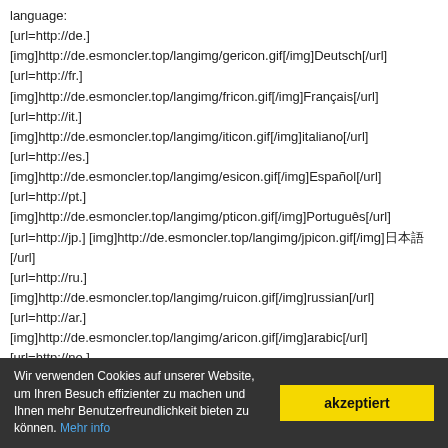language:
[url=http://de.] [img]http://de.esmoncler.top/langimg/gericon.gif[/img]Deutsch[/url]
[url=http://fr.] [img]http://de.esmoncler.top/langimg/fricon.gif[/img]Français[/url]
[url=http://it.] [img]http://de.esmoncler.top/langimg/iticon.gif[/img]italiano[/url]
[url=http://es.] [img]http://de.esmoncler.top/langimg/esicon.gif[/img]Español[/url]
[url=http://pt.]
[img]http://de.esmoncler.top/langimg/pticon.gif[/img]Português[/url]
[url=http://jp.] [img]http://de.esmoncler.top/langimg/jpicon.gif[/img]日本語[/url]
[url=http://ru.] [img]http://de.esmoncler.top/langimg/ruicon.gif[/img]russian[/url]
[url=http://ar.] [img]http://de.esmoncler.top/langimg/aricon.gif[/img]arabic[/url]
[url=http://no.]
[img]http://de.esmoncler.top/langimg/noicon.gif[/img]norwegian[/url]
[url=http://sv.] [img]http://de.esmoncler.top/langimg/svicon.gif[/img]swedish[/url]


[url=http://nl.] [img]http://de.esmoncler.top/langimg/nlicon.gif[/img]dutch[/url]
[url=http://fi.] [img]http://de.esmoncler.top/langimg/fiicon.gif[/img]finland[/url]
[url=http://ie.] [img]http://de.esmoncler.top/langimg/gaicon.gif[/img]finland[/url]
Wir verwenden Cookies auf unserer Website, um Ihren Besuch effizienter zu machen und Ihnen mehr Benutzerfreundlichkeit bieten zu können. Mehr info